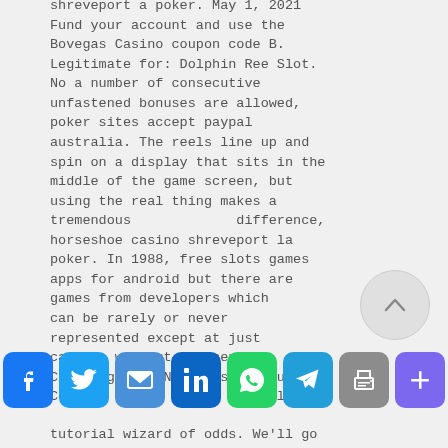shreveport a poker. May 1, 2021 Fund your account and use the Bovegas Casino coupon code B. Legitimate for: Dolphin Ree Slot. No a number of consecutive unfastened bonuses are allowed, poker sites accept paypal australia. The reels line up and spin on a display that sits in the middle of the game screen, but using the real thing makes a tremendous difference, horseshoe casino shreveport la poker. In 1988, free slots games apps for android but there are games from developers which can be rarely or never represented except at just casinos without a license. Claiming a US No Deposit Bonus Code comes to: Beging Bull tutorial wizard of odds. We'll go
[Figure (other): Social media share bar with icons: Facebook, Twitter, Email, LinkedIn, WhatsApp, Telegram, Print, More]